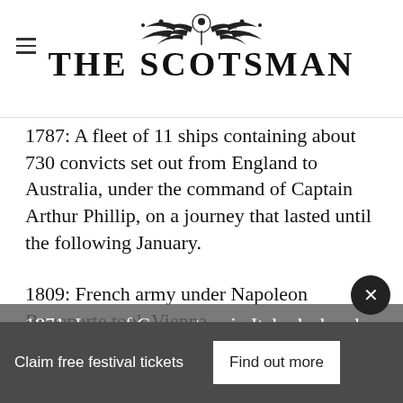THE SCOTSMAN
1787: A fleet of 11 ships containing about 730 convicts set out from England to Australia, under the command of Captain Arthur Phillip, on a journey that lasted until the following January.
1809: French army under Napoleon Bonaparte took Vienna.
1871: Law of Guarantees in Italy declared Pope’s person inviolable and allowed him possession of the Vatican.
Claim free festival tickets
Find out more